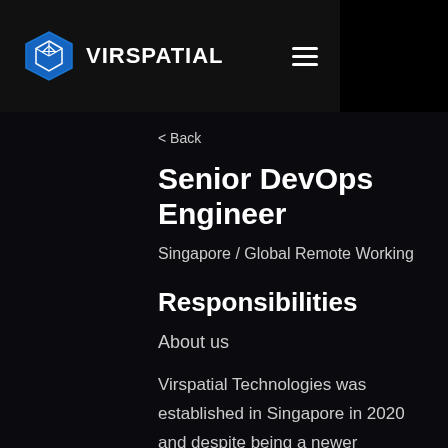VIRSPATIAL
< Back
Senior DevOps Engineer
Singapore / Global Remote Working
Responsibilities
About us
Virspatial Technologies was established in Singapore in 2020 and despite being a newer company along with the pandemic, we have been growing fast